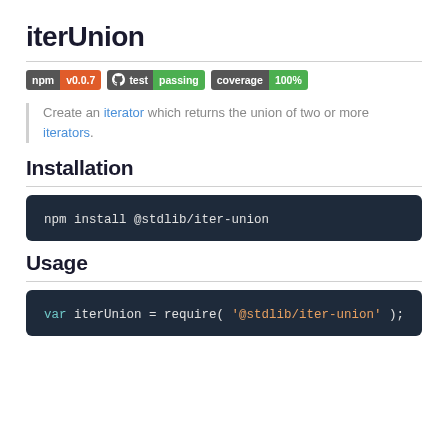iterUnion
[Figure (infographic): Badges: npm v0.0.7, GitHub test passing, coverage 100%]
Create an iterator which returns the union of two or more iterators.
Installation
npm install @stdlib/iter-union
Usage
var iterUnion = require( '@stdlib/iter-union' );